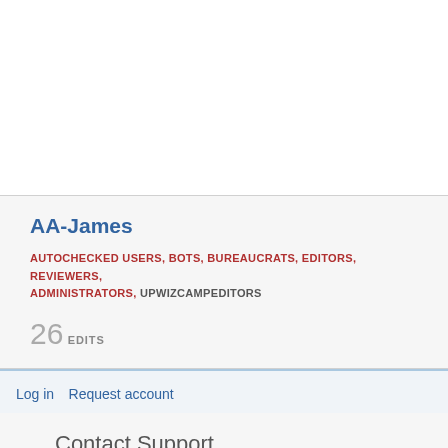AA-James
AUTOCHECKED USERS, BOTS, BUREAUCRATS, EDITORS, REVIEWERS, ADMINISTRATORS, UPWIZCAMPEDITORS
26
EDITS
Log in  Request account
Contact Support